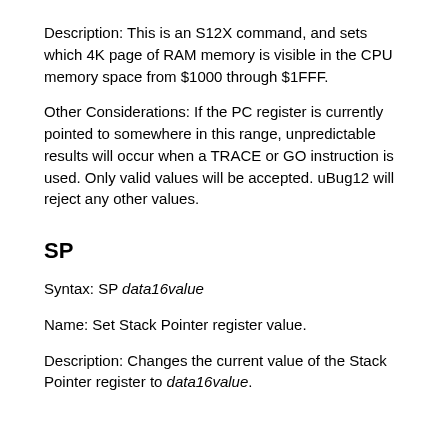Description: This is an S12X command, and sets which 4K page of RAM memory is visible in the CPU memory space from $1000 through $1FFF.
Other Considerations: If the PC register is currently pointed to somewhere in this range, unpredictable results will occur when a TRACE or GO instruction is used. Only valid values will be accepted. uBug12 will reject any other values.
SP
Syntax: SP data16value
Name: Set Stack Pointer register value.
Description: Changes the current value of the Stack Pointer register to data16value.